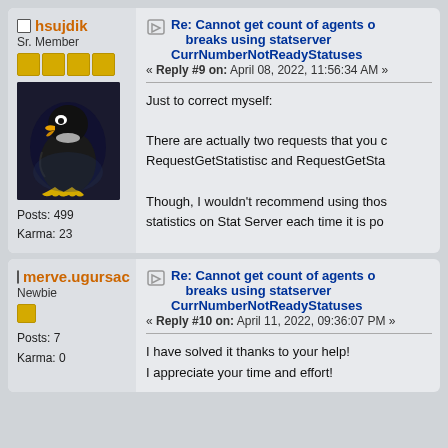hsujdik
Sr. Member
[Figure (photo): Avatar image of Daffy Duck cartoon character on dark background]
Posts: 499
Karma: 23
Re: Cannot get count of agents o breaks using statserver CurrNumberNotReadyStatuses
« Reply #9 on: April 08, 2022, 11:56:34 AM »
Just to correct myself:
There are actually two requests that you c RequestGetStatistisc and RequestGetSta
Though, I wouldn't recommend using thos statistics on Stat Server each time it is po
merve.ugursac
Newbie
Posts: 7
Karma: 0
Re: Cannot get count of agents o breaks using statserver CurrNumberNotReadyStatuses
« Reply #10 on: April 11, 2022, 09:36:07 PM »
I have solved it thanks to your help!
I appreciate your time and effort!